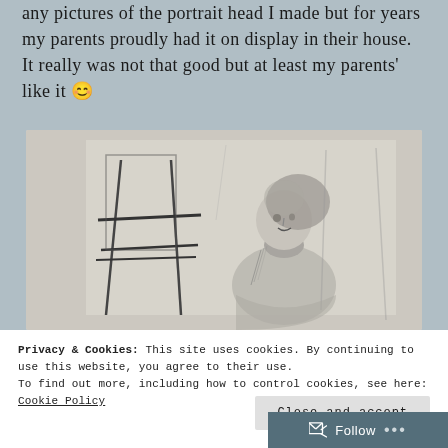any pictures of the portrait head I made but for years my parents proudly had it on display in their house. It really was not that good but at least my parents' like it 😊
[Figure (illustration): A pencil or charcoal sketch showing a figure (person wearing a turtleneck) standing in front of what appears to be an easel or canvas, with loose gestural marks throughout the composition. The drawing is rendered in gray tones on a light background.]
Privacy & Cookies: This site uses cookies. By continuing to use this website, you agree to their use.
To find out more, including how to control cookies, see here: Cookie Policy
Close and accept
Follow